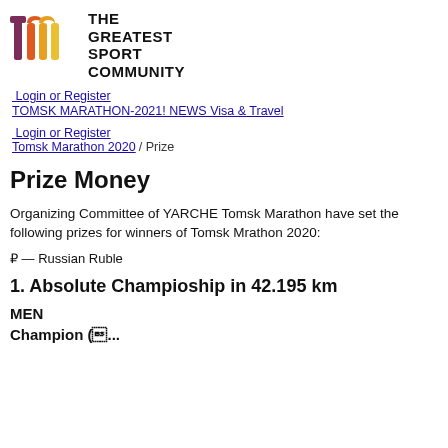[Figure (logo): The Greatest Sport Community logo: stylized red and orange 'tm' letters with purple accent, and bold black text reading THE GREATEST SPORT COMMUNITY]
Login or Register
TOMSK MARATHON-2021! NEWS Visa & Travel
Login or Register
Tomsk Marathon 2020 / Prize
Prize Money
Organizing Committee of YARCHE Tomsk Marathon have set the following prizes for winners of Tomsk Mrathon 2020:
₽ — Russian Ruble
1. Absolute Champioship in 42.195 km
MEN